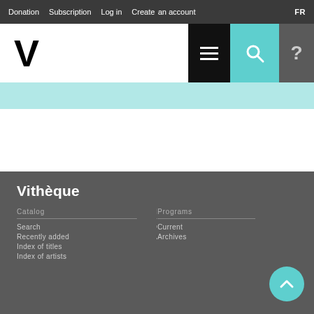Donation  Subscription  Log in  Create an account  FR
[Figure (logo): V logo mark for Vitheque website, large black bold letter V]
Vitheque
Catalog
Search
Recently added
Index of titles
Index of artists
Programs
Current
Archives